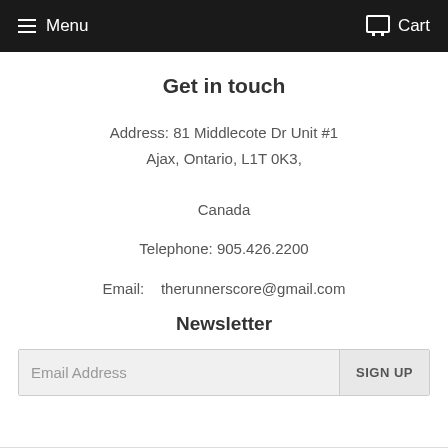Menu   Cart
Get in touch
Address:  81 Middlecote Dr Unit #1
Ajax, Ontario, L1T 0K3,

Canada
Telephone: 905.426.2200
Email:    therunnerscore@gmail.com
Newsletter
Email Address   SIGN UP